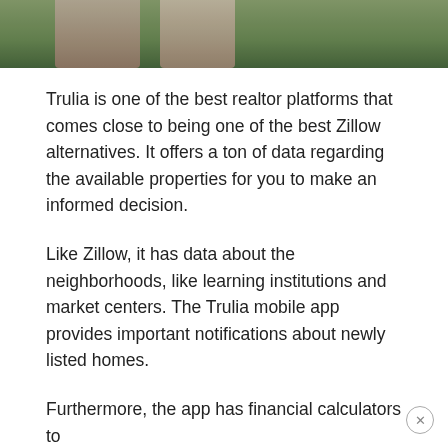[Figure (photo): Partial photo strip at top showing people standing outdoors with green plants/garden in background]
Trulia is one of the best realtor platforms that comes close to being one of the best Zillow alternatives. It offers a ton of data regarding the available properties for you to make an informed decision.
Like Zillow, it has data about the neighborhoods, like learning institutions and market centers. The Trulia mobile app provides important notifications about newly listed homes.
Furthermore, the app has financial calculators to give you a clear clue about a property's cost and whether it's worth purchasing it in the present